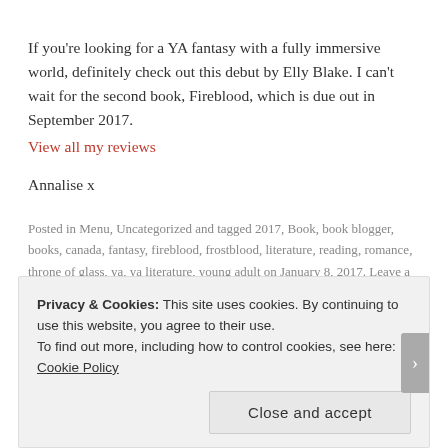If you're looking for a YA fantasy with a fully immersive world, definitely check out this debut by Elly Blake. I can't wait for the second book, Fireblood, which is due out in September 2017. View all my reviews
Annalise x
Posted in Menu, Uncategorized and tagged 2017, Book, book blogger, books, canada, fantasy, fireblood, frostblood, literature, reading, romance, throne of glass, ya, ya literature, young adult on January 8, 2017. Leave a comment
Privacy & Cookies: This site uses cookies. By continuing to use this website, you agree to their use. To find out more, including how to control cookies, see here: Cookie Policy Close and accept